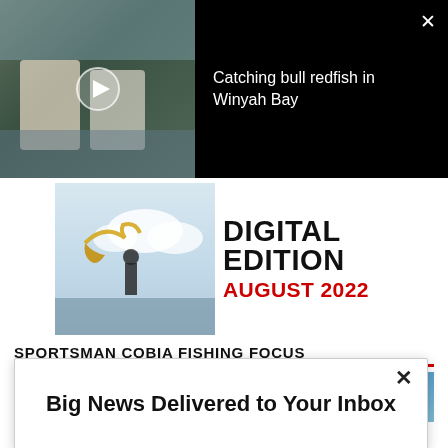[Figure (screenshot): Video thumbnail showing two men holding a large fish on a boat, with a play button overlay. Black panel to the right shows video title 'Catching bull redfish in Winyah Bay' with close button.]
[Figure (photo): Digital edition advertisement banner showing a fisherman silhouette on a boat with a leaping fish, text reads DIGITAL EDITION AUGUST 2022]
SPORTSMAN COBIA FISHING FOCUS
[Figure (photo): Partial photo strip showing a man in a blue sky background, partially obscured by modal overlay]
[Figure (screenshot): Modal popup with close button (x) and title text 'Big News Delivered to Your Inbox']